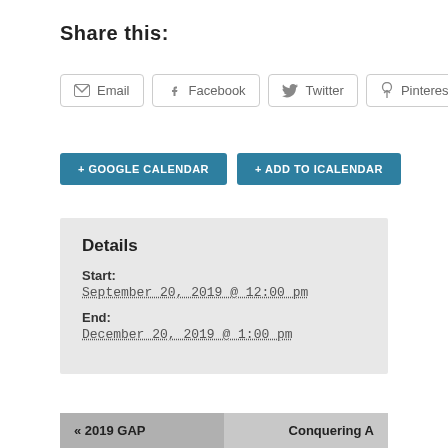Share this:
Email  Facebook  Twitter  Pinterest
+ GOOGLE CALENDAR  + ADD TO ICALENDAR
Details
Start:
September 20, 2019 @ 12:00 pm
End:
December 20, 2019 @ 1:00 pm
« 2019 GAP
Conquering A